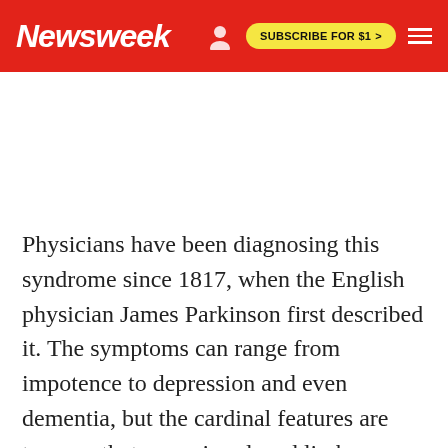Newsweek | SUBSCRIBE FOR $1 >
Physicians have been diagnosing this syndrome since 1817, when the English physician James Parkinson first described it. The symptoms can range from impotence to depression and even dementia, but the cardinal features are tremors that occur in relaxed limbs; stiffness or freezing of the joints; bradykinesia, or slow, limited movement, and